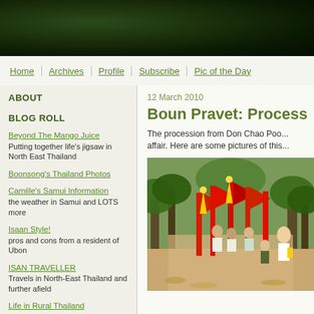[Figure (photo): Dark green bokeh/nature banner header image]
Home | Archives | Profile | Subscribe | Pic of the Day
ABOUT
BLOG ROLL
Beyond The Mango Juice
Putting together life's jigsaw in North East Thailand
Boonsong's Thailand Photos
Camille's Samui Information
the weather in Samui and LOTS more
Isaan Style!
pros and cons from a resident of Ubon
ISAN TRAVELLER
Travels in North-East Thailand and further afield
Life in Rural Thailand
village and city life in Ubon Ratchathani
My Thai Village Life
a farang in a village in Chiang Rai Province
12 March 2010
Boun Pravet: Processi...
The procession from Don Chao Poo... affair. Here are some pictures of this...
[Figure (photo): Photo of a Buddhist procession with red banners and flags walking along a tree-lined path, participants carrying ceremonial items]